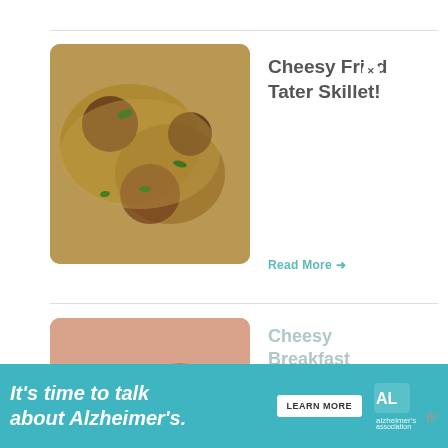[Figure (photo): Food photo of Cheesy Fried Tater Skillet - a close up of a skillet dish with cheesy tater tots, meat, and herbs]
Cheesy Fried Tater Skillet!
Read More →
[Figure (photo): Food photo of Cheesy Breakfast Scramble - colorful breakfast scramble with vegetables and eggs]
Cheesy Breakfast Scramble!
Read More →
[Figure (photo): What's Next thumbnail - Taco Stuffed Taters food photo]
WHAT'S NEXT → Taco Stuffed Taters!
It's time to talk about Alzheimer's. LEARN MORE